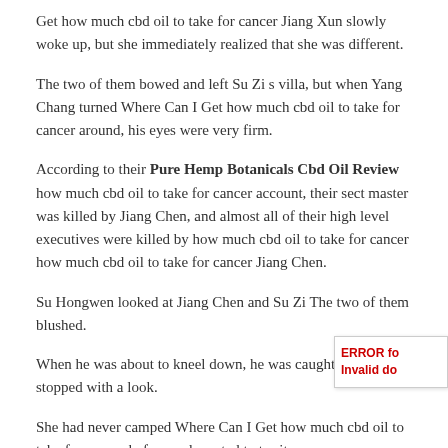Get how much cbd oil to take for cancer Jiang Xun slowly woke up, but she immediately realized that she was different.
The two of them bowed and left Su Zi s villa, but when Yang Chang turned Where Can I Get how much cbd oil to take for cancer around, his eyes were very firm.
According to their Pure Hemp Botanicals Cbd Oil Review how much cbd oil to take for cancer account, their sect master was killed by Jiang Chen, and almost all of their high level executives were killed by how much cbd oil to take for cancer how much cbd oil to take for cancer Jiang Chen.
Su Hongwen looked at Jiang Chen and Su Zi The two of them blushed.
When he was about to kneel down, he was caught Jiang Chen stopped with a look.
She had never camped Where Can I Get how much cbd oil to take for cancer before and wanted to try it.
That s fine too. Wait, I don t think so, Jiang Chen interjected, the moment